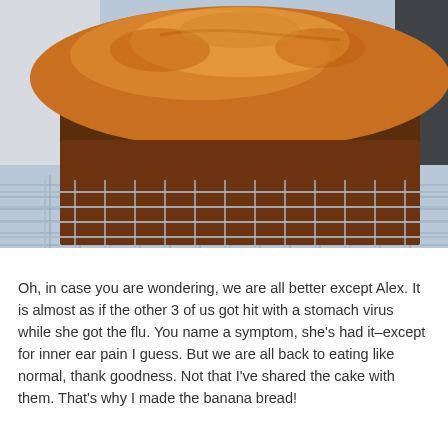[Figure (photo): A loaf of banana bread cooling on a wire rack. The bread is golden-brown on top with a darker brown crust on the sides, sitting on a metal cooling rack with a grid pattern.]
Oh, in case you are wondering, we are all better except Alex. It is almost as if the other 3 of us got hit with a stomach virus while she got the flu. You name a symptom, she's had it–except for inner ear pain I guess. But we are all back to eating like normal, thank goodness. Not that I've shared the cake with them. That's why I made the banana bread!